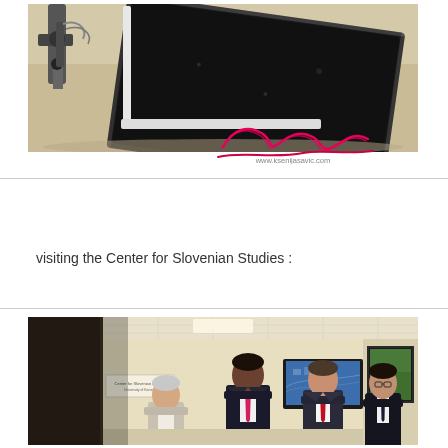[Figure (photo): Photo of a robotic arm or mechanical device in an indoor setting, with pink/magenta signature and watermark 'www.ksenijasavic.com' overlaid in bottom right corner]
visiting the Center for Slovenian Studies :
[Figure (photo): Photo of four men in business attire standing in a room at the Center for Slovenian Studies, with a screen/TV visible in background showing an aerial city view]